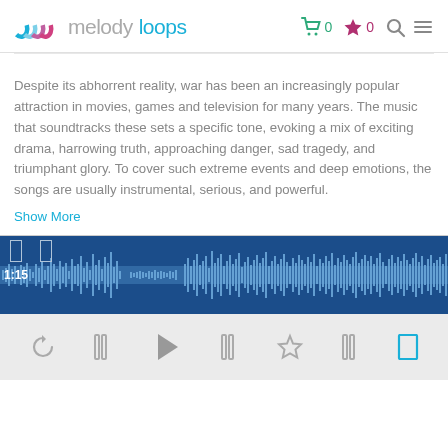melodyloops — navigation with cart (0), favorites (0), search, and menu icons
Despite its abhorrent reality, war has been an increasingly popular attraction in movies, games and television for many years. The music that soundtracks these sets a specific tone, evoking a mix of exciting drama, harrowing truth, approaching danger, sad tragedy, and triumphant glory. To cover such extreme events and deep emotions, the songs are usually instrumental, serious, and powerful.
Show More
[Figure (other): Audio waveform player showing a dark blue waveform with time indicator 1:15, two bracket markers at the top, and a full-width waveform visualization]
[Figure (other): Audio player controls row showing: replay, previous, play, next, favorite (star), unknown, and bracket/fullscreen buttons on a light gray background]